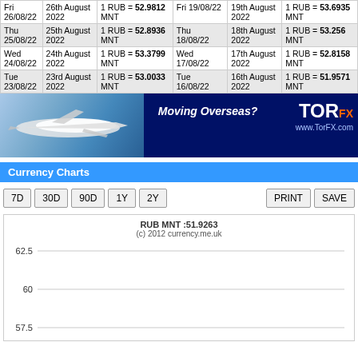| Day | Date | Rate | Day | Date | Rate |
| --- | --- | --- | --- | --- | --- |
| Fri 26/08/22 | 26th August 2022 | 1 RUB = 52.9812 MNT | Fri 19/08/22 | 19th August 2022 | 1 RUB = 53.6935 MNT |
| Thu 25/08/22 | 25th August 2022 | 1 RUB = 52.8936 MNT | Thu 18/08/22 | 18th August 2022 | 1 RUB = 53.256 MNT |
| Wed 24/08/22 | 24th August 2022 | 1 RUB = 53.3799 MNT | Wed 17/08/22 | 17th August 2022 | 1 RUB = 52.8158 MNT |
| Tue 23/08/22 | 23rd August 2022 | 1 RUB = 53.0033 MNT | Tue 16/08/22 | 16th August 2022 | 1 RUB = 51.9571 MNT |
[Figure (illustration): Advertisement banner for TorFX: airplane in sky on left, 'Moving Overseas?' text in center, TorFX logo and www.TorFX.com on right dark blue background]
Currency Charts
7D  30D  90D  1Y  2Y  PRINT  SAVE
[Figure (line-chart): Line chart of RUB to MNT exchange rate. Y-axis shows values 57.5, 60, 62.5. Chart area is mostly empty/clipped at bottom. Subtitle: (c) 2012 currency.me.uk]